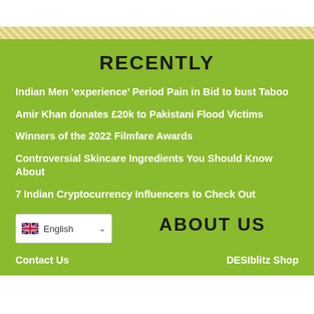RECENTLY
Indian Men ‘experience’ Period Pain in Bid to bust Taboo
Amir Khan donates £20k to Pakistani Flood Victims
Winners of the 2022 Filmfare Awards
Controversial Skincare Ingredients You Should Know About
7 Indian Cryptocurrency Influencers to Check Out
English
ABOUT US
Contact Us
DESIblitz Shop